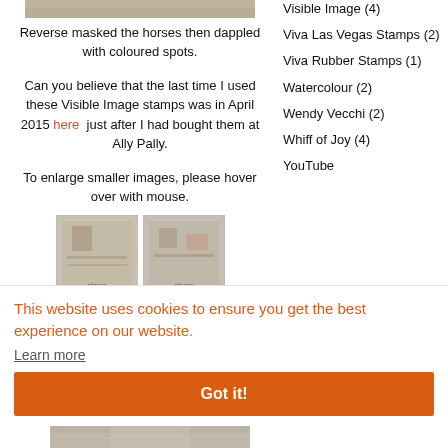[Figure (photo): Top portion of an image showing horses, partially cropped at top of page]
Reverse masked the horses then dappled with coloured spots.
Can you believe that the last time I used these Visible Image stamps was in April 2015 here just after I had bought them at Ally Pally.
To enlarge smaller images, please hover over with mouse.
[Figure (photo): Two small thumbnail images of stamp projects]
Visible Image (4)
Viva Las Vegas Stamps (2)
Viva Rubber Stamps (1)
Watercolour (2)
Wendy Vecchi (2)
Whiff of Joy (4)
YouTube
This website uses cookies to ensure you get the best experience on our website.
Learn more
Got it!
[Figure (photo): Bottom image partially visible, appears to be a stamp project]